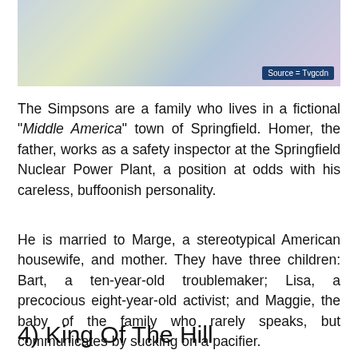[Figure (illustration): Cartoon illustration from The Simpsons animated show showing characters in a scene. Source watermark reads: Source = Tvgcdn]
The Simpsons are a family who lives in a fictional "Middle America" town of Springfield. Homer, the father, works as a safety inspector at the Springfield Nuclear Power Plant, a position at odds with his careless, buffoonish personality.
He is married to Marge, a stereotypical American housewife, and mother. They have three children: Bart, a ten-year-old troublemaker; Lisa, a precocious eight-year-old activist; and Maggie, the baby of the family who rarely speaks, but communicates by sucking on a pacifier.
4) King Of The Hill